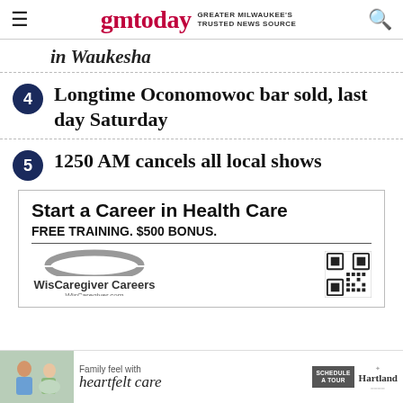gmtoday GREATER MILWAUKEE'S TRUSTED NEWS SOURCE
in Waukesha
4 Longtime Oconomowoc bar sold, last day Saturday
5 1250 AM cancels all local shows
[Figure (infographic): Advertisement: Start a Career in Health Care. FREE TRAINING. $500 BONUS. WisCaregiver Careers. WisCaregiver.com. With QR code.]
[Figure (infographic): Footer advertisement: Family feel with heartfelt care. Schedule a Tour. Hartland.]